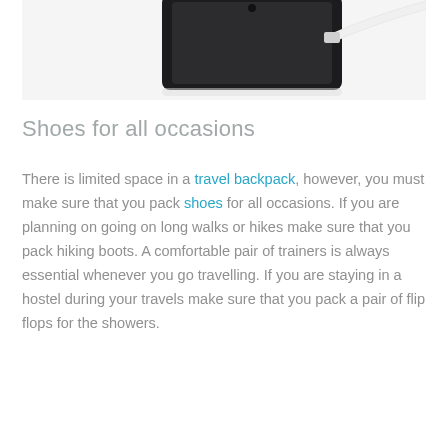[Figure (photo): Partial view of a dark smartphone with a white charging cable plugged in, on a white background.]
Shoes for all occasions
There is limited space in a travel backpack, however, you must make sure that you pack shoes for all occasions. If you are planning on going on long walks or hikes make sure that you pack hiking boots. A comfortable pair of trainers is always essential whenever you go travelling. If you are staying in a hostel during your travels make sure that you pack a pair of flip flops for the showers.